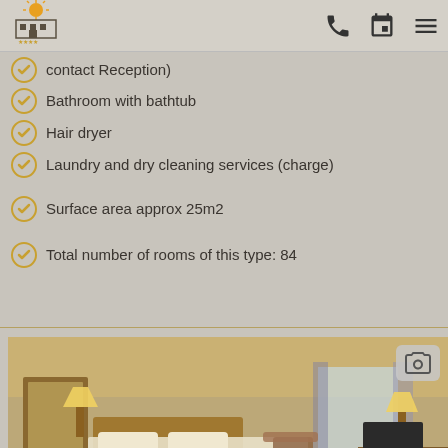[Figure (logo): Hotel logo with sun and building motif, four stars]
contact Reception)
Bathroom with bathtub
Hair dryer
Laundry and dry cleaning services (charge)
Surface area approx 25m2
Total number of rooms of this type: 84
[Figure (photo): Hotel room interior showing double bed, warm lighting, curtains, mirror, and furniture]